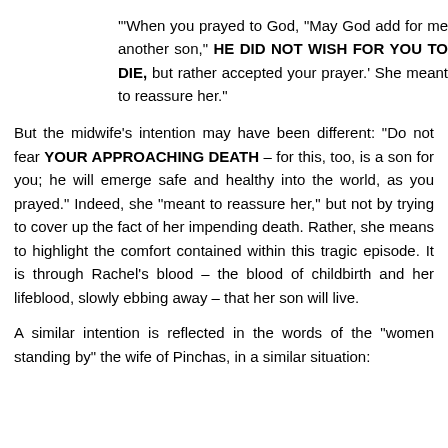'"When you prayed to God, "May God add for me another son," HE DID NOT WISH FOR YOU TO DIE, but rather accepted your prayer.' She meant to reassure her."
But the midwife's intention may have been different: "Do not fear YOUR APPROACHING DEATH – for this, too, is a son for you; he will emerge safe and healthy into the world, as you prayed." Indeed, she "meant to reassure her," but not by trying to cover up the fact of her impending death. Rather, she means to highlight the comfort contained within this tragic episode. It is through Rachel's blood – the blood of childbirth and her lifeblood, slowly ebbing away – that her son will live.
A similar intention is reflected in the words of the "women standing by" the wife of Pinchas, in a similar situation: